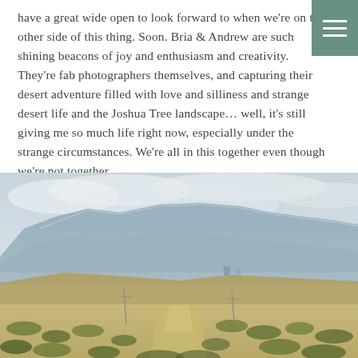have a great wide open to look forward to when we're on the other side of this thing. Soon. Bria & Andrew are such shining beacons of joy and enthusiasm and creativity. They're fab photographers themselves, and capturing their desert adventure filled with love and silliness and strange desert life and the Joshua Tree landscape... well, it's still giving me so much life right now, especially under the strange circumstances. We're all in this together even though we're not together.
[Figure (photo): Desert landscape with a dirt path leading toward a mountain range under a cloudy sky, with dry scrubland and sparse desert vegetation in the foreground.]